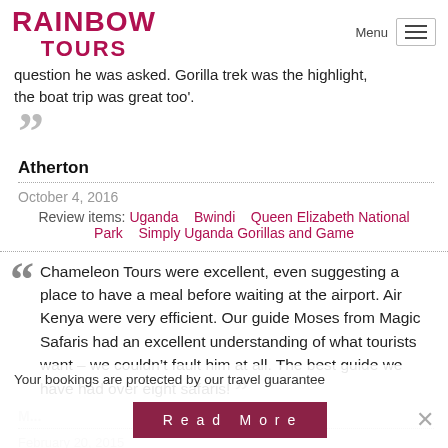RAINBOW TOURS
question he was asked. Gorilla trek was the highlight, the boat trip was great too'.
”
Atherton
October 4, 2016
Review items: Uganda   Bwindi   Queen Elizabeth National Park   Simply Uganda Gorillas and Game
Chameleon Tours were excellent, even suggesting a place to have a meal before waiting at the airport. Air Kenya were very efficient. Our guide Moses from Magic Safaris had an excellent understanding of what tourists want – we couldn’t fault him at all. The best guide we have had over eight safaris!
M... (reviewer name partial)
February 20, 2015
Review items: Kenya   Rwanda   Uganda
Your bookings are protected by our travel guarantee
Read More